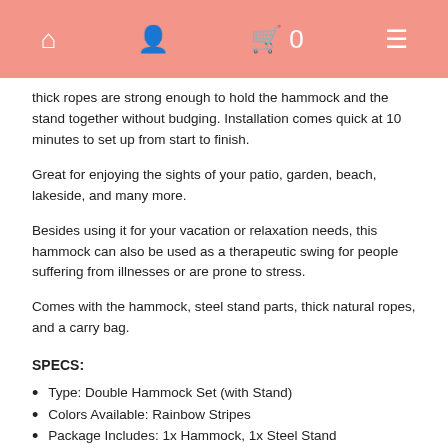🏠 👤 🛒 0 ☰
thick ropes are strong enough to hold the hammock and the stand together without budging. Installation comes quick at 10 minutes to set up from start to finish.
Great for enjoying the sights of your patio, garden, beach, lakeside, and many more.
Besides using it for your vacation or relaxation needs, this hammock can also be used as a therapeutic swing for people suffering from illnesses or are prone to stress.
Comes with the hammock, steel stand parts, thick natural ropes, and a carry bag.
SPECS:
Type: Double Hammock Set (with Stand)
Colors Available: Rainbow Stripes
Package Includes: 1x Hammock, 1x Steel Stand